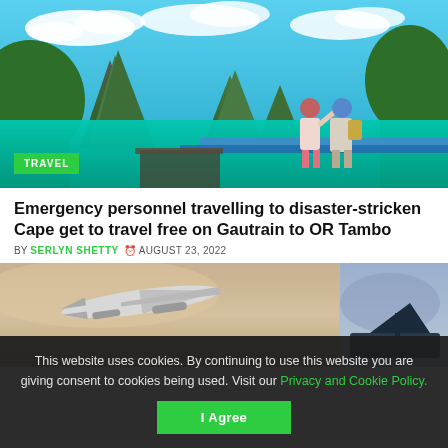[Figure (photo): Travel photo showing two people standing on a dock looking at turquoise water with dramatic limestone karst mountains in the background under a blue sky with clouds. A green TRAVEL badge is overlaid at the bottom left.]
Emergency personnel travelling to disaster-stricken Cape get to travel free on Gautrain to OR Tambo
BY SERLYN SHETTY  AUGUST 23, 2022
[Figure (photo): Split image showing an airplane in flight on the left side and another travel scene on the right side.]
This website uses cookies. By continuing to use this website you are giving consent to cookies being used. Visit our Privacy and Cookie Policy.